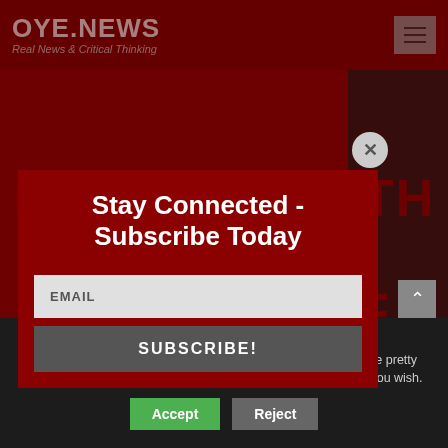OYE.NEWS
Real News & Critical Thinking
Stay Connected - Subscribe Today
EMAIL
SUBSCRIBE!
PATIENTS WITH NO HISTORY OF MENTAL ILLNESS NEEDLESSLY...
This website uses cookies to improve your experience. Unfortunately, they are not of the chocolate-chip variety and are pretty boring. We'll assume you're ok with this, but you can opt-out if you wish.
Accept
Reject